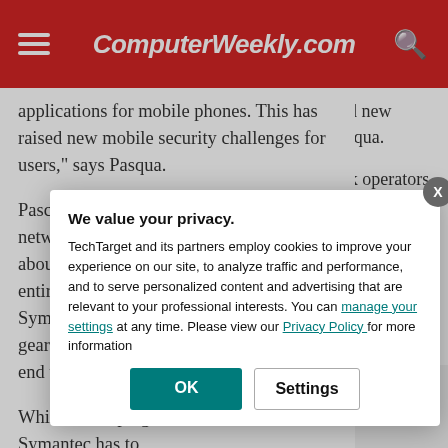ComputerWeekly.com
applications for mobile phones. This has raised new mobile security challenges for users," says Pasqua.
Pasca claims that wireless carriers and network operators are also concerned about their infrastructure, as a couple of in[...] entire cell phone[...] Symantec mobil[...] geared towards [...] end users.
While developing[...] Symantec has to[...] performance deg[...] impact on the en[...] usage of other a[...] avoid these issu[...]
We value your privacy.
TechTarget and its partners employ cookies to improve your experience on our site, to analyze traffic and performance, and to serve personalized content and advertising that are relevant to your professional interests. You can manage your settings at any time. Please view our Privacy Policy for more information